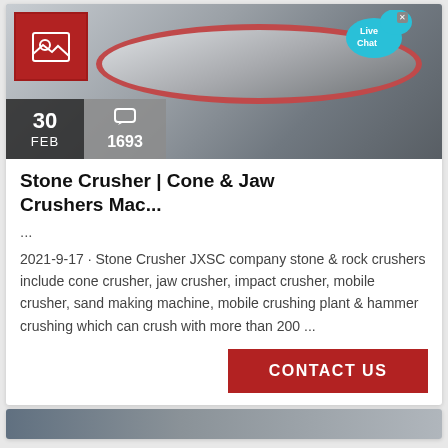[Figure (photo): Stone crusher / jaw crusher machine photo with red and white machinery visible in a factory setting. Overlaid badges show date '30 FEB' and comment count '1693'. A red image-placeholder icon in top-left corner.]
Stone Crusher | Cone & Jaw Crushers Mac...
...
2021-9-17 · Stone Crusher JXSC company stone & rock crushers include cone crusher, jaw crusher, impact crusher, mobile crusher, sand making machine, mobile crushing plant & hammer crushing which can crush with more than 200 ...
[Figure (screenshot): Live Chat bubble overlay in cyan/teal color]
CONTACT US
[Figure (photo): Bottom partial card showing another image, partially visible]